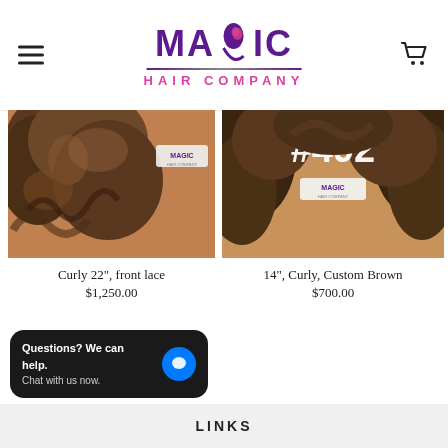[Figure (logo): Magic Hair Company logo with purple and pink text and a woman silhouette icon]
[Figure (photo): Curly 22 inch front lace wig product photo showing brown curly hair]
Curly 22", front lace
$1,250.00
[Figure (photo): 14 inch Curly Custom Brown wig product photo with #492 overlay text]
14", Curly, Custom Brown
$700.00
Questions? We can help.
Chat with us now.
LINKS